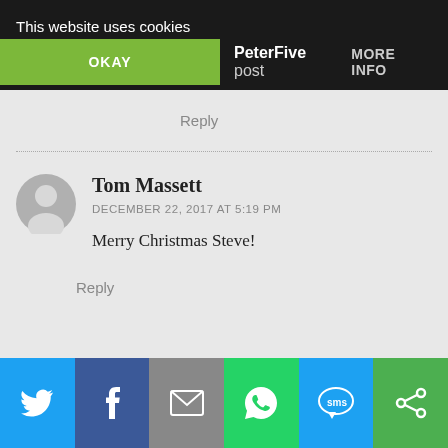This website uses cookies
OKAY
PeterFive post MORE INFO
Reply
Tom Massett
DECEMBER 22, 2017 AT 5:19 PM
Merry Christmas Steve!
Reply
[Figure (screenshot): Social share bar with Twitter, Facebook, Email, WhatsApp, SMS, and other share icons]